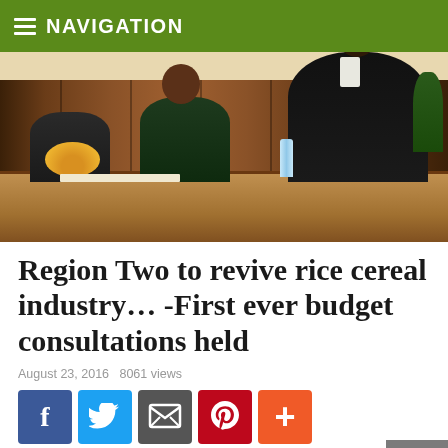NAVIGATION
[Figure (photo): Meeting room photo showing several people seated at a wooden table during a budget consultation meeting. A man in a dark suit is prominently visible on the right side.]
Region Two to revive rice cereal industry… -First ever budget consultations held
August 23, 2016   8061 views
[Figure (infographic): Social media share buttons: Facebook, Twitter, Email, Pinterest, and a plus button]
If all goes well, Guyana can soon expect to see the return…
ONE COMMENT